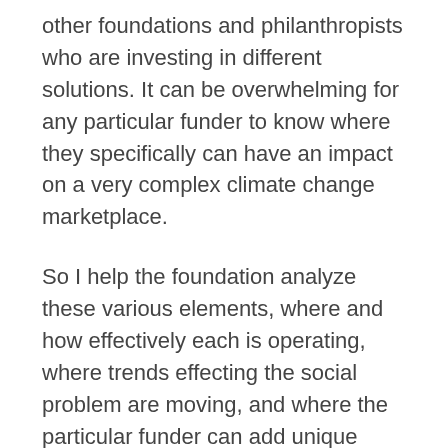other foundations and philanthropists who are investing in different solutions. It can be overwhelming for any particular funder to know where they specifically can have an impact on a very complex climate change marketplace.
So I help the foundation analyze these various elements, where and how effectively each is operating, where trends effecting the social problem are moving, and where the particular funder can add unique value.
While I spend a good deal of time on this blog giving voice to the challenges of the nonprofit sector, there is no doubt that the philanthropy that funds